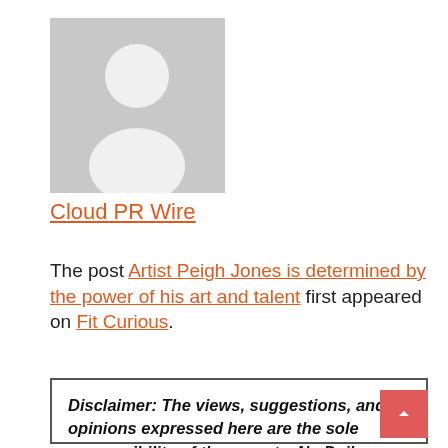[Figure (photo): Gray placeholder avatar image with silhouette of a person]
Cloud PR Wire
The post Artist Peigh Jones is determined by the power of his art and talent first appeared on Fit Curious.
Disclaimer: The views, suggestions, and opinions expressed here are the sole responsibility of the experts. No Dailys World journalist was involved in the writing and production of this article.